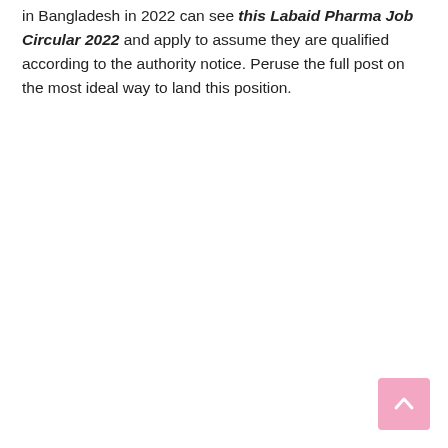in Bangladesh in 2022 can see this Labaid Pharma Job Circular 2022 and apply to assume they are qualified according to the authority notice. Peruse the full post on the most ideal way to land this position.
[Figure (other): Pink scroll-to-top button with upward-pointing chevron arrow in the bottom-right corner]